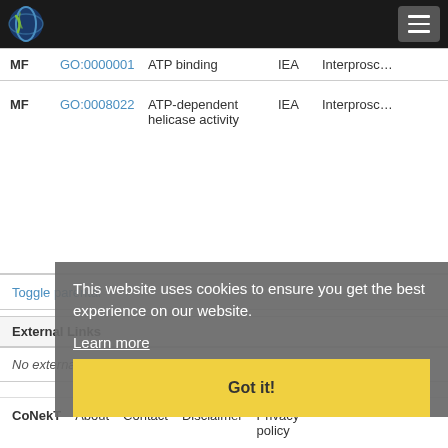CoNekT navigation bar with logo and menu button
| Type | GO ID | Description | Evidence | Source |
| --- | --- | --- | --- | --- |
| MF | GO:0000001 | ATP binding | IEA | Interprosc... |
| MF | GO:0008022 | ATP-dependent helicase activity | IEA | Interprosc... |
Toggle parental
External Links
No external refs found!
This website uses cookies to ensure you get the best experience on our website. Learn more Got it!
CoNekT   About   Contact   Disclaimer   Privacy policy